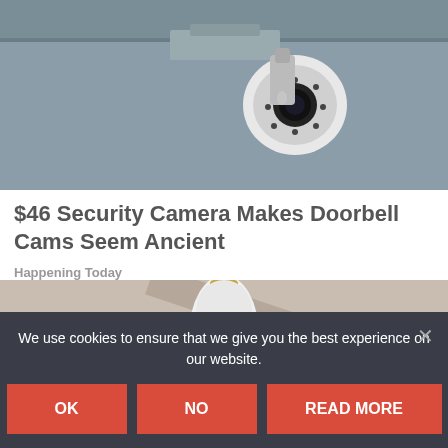[Figure (photo): Close-up photo of a white PTZ security camera mounted on a gray surface, viewed from below]
$46 Security Camera Makes Doorbell Cams Seem Ancient
Happening Today
[Figure (photo): A hand holding a white bulb-shaped smart security camera with a black base, against a wooden background]
We use cookies to ensure that we give you the best experience on our website.
OK
NO
READ MORE